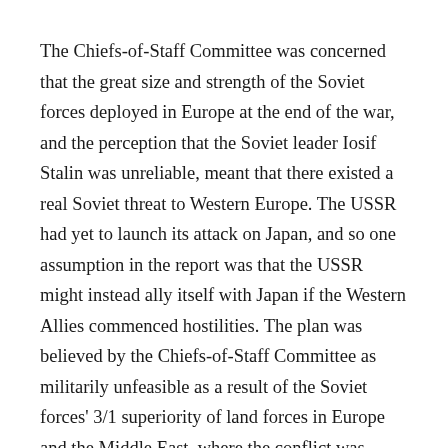The Chiefs-of-Staff Committee was concerned that the great size and strength of the Soviet forces deployed in Europe at the end of the war, and the perception that the Soviet leader Iosif Stalin was unreliable, meant that there existed a real Soviet threat to Western Europe. The USSR had yet to launch its attack on Japan, and so one assumption in the report was that the USSR might instead ally itself with Japan if the Western Allies commenced hostilities. The plan was believed by the Chiefs-of-Staff Committee as militarily unfeasible as a result of the Soviet forces' 3/1 superiority of land forces in Europe and the Middle East, where the conflict was projected to take place.
The main weight of any offensive operation would have been undertaken by US and British forces, as well as Polish forces and up to 100,000 surrendered German soldiers, and rapid success could have resulted only on total surprise. If a quick success could not be obtained before the onset of winter, the